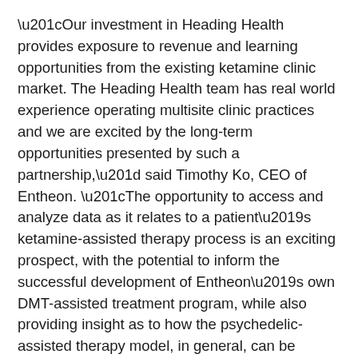“Our investment in Heading Health provides exposure to revenue and learning opportunities from the existing ketamine clinic market. The Heading Health team has real world experience operating multisite clinic practices and we are excited by the long-term opportunities presented by such a partnership,” said Timothy Ko, CEO of Entheon. “The opportunity to access and analyze data as it relates to a patient’s ketamine-assisted therapy process is an exciting prospect, with the potential to inform the successful development of Entheon’s own DMT-assisted treatment program, while also providing insight as to how the psychedelic-assisted therapy model, in general, can be optimized toward positive patient outcomes.”
“This initial investment by Entheon is validation of Heading’s crucial role in the emerging treatment paradigm for mental health disorders. As well as this, Entheon sees significant value in the data that Heading will be collecting in order to optimize patient outcomes,” said Simon Tankel, CEO of Heading Health. “We are excited by the opportunity to collaborate and partner